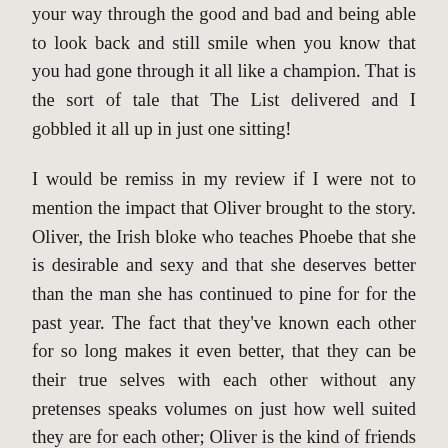your way through the good and bad and being able to look back and still smile when you know that you had gone through it all like a champion. That is the sort of tale that The List delivered and I gobbled it all up in just one sitting!
I would be remiss in my review if I were not to mention the impact that Oliver brought to the story. Oliver, the Irish bloke who teaches Phoebe that she is desirable and sexy and that she deserves better than the man she has continued to pine for for the past year. The fact that they've known each other for so long makes it even better, that they can be their true selves with each other without any pretenses speaks volumes on just how well suited they are for each other; Oliver is the kind of friends with benefit bloke every girl should have; funny, sexy as hell and